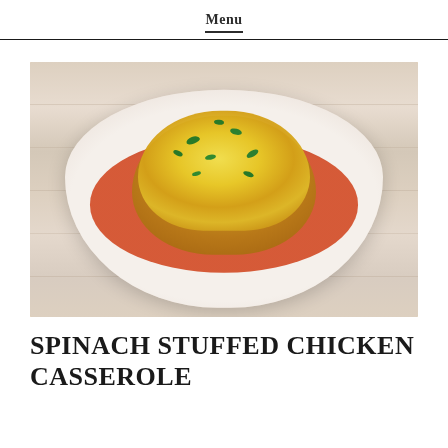Menu
[Figure (photo): A white oval dish containing spinach stuffed chicken casserole covered in melted yellow cheese and chopped green herbs, sitting in a red tomato sauce, photographed from above on a light wood surface.]
SPINACH STUFFED CHICKEN CASSEROLE